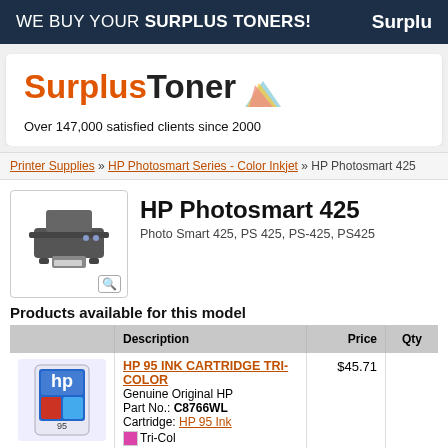WE BUY YOUR SURPLUS TONERS! Surplu
[Figure (logo): SurplusToner logo with colored paper fan icon]
Over 147,000 satisfied clients since 2000
Printer Supplies » HP Photosmart Series - Color Inkjet » HP Photosmart 425
[Figure (photo): HP Photosmart 425 printer image with magnify icon]
HP Photosmart 425
Photo Smart 425, PS 425, PS-425, PS425
Products available for this model
|  | Description | Price | Qty |
| --- | --- | --- | --- |
| [ink cartridge image] | HP 95 INK CARTRIDGE TRI-COLOR
Genuine Original HP
Part No.: C8766WL
Cartridge: HP 95 Ink
Tri-Color | $45.71 |  |